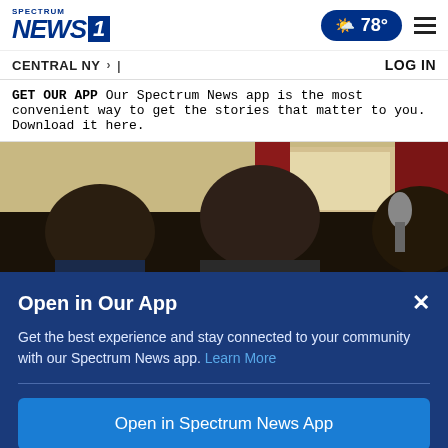Spectrum NEWS1 | 78° | CENTRAL NY > | LOG IN
GET OUR APP Our Spectrum News app is the most convenient way to get the stories that matter to you. Download it here.
[Figure (photo): People seated at a table in a room with red curtains and a window in the background]
Open in Our App
Get the best experience and stay connected to your community with our Spectrum News app. Learn More
Open in Spectrum News App
Continue in Browser